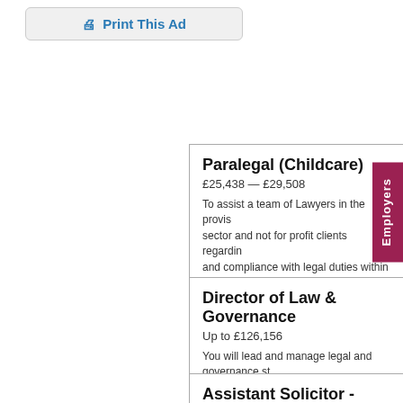Print This Ad
Paralegal (Childcare)
£25,438 — £29,508
To assist a team of Lawyers in the provision of legal advice to public sector and not for profit clients regarding and compliance with legal duties within
Director of Law & Governance
Up to £126,156
You will lead and manage legal and governance st operation of the Council's Constitution, leading th
Assistant Solicitor - Contracts and
£44,624 - £49,651
The Council seeks an experienced lawyer with a ba do attitude and a desire to improve public service